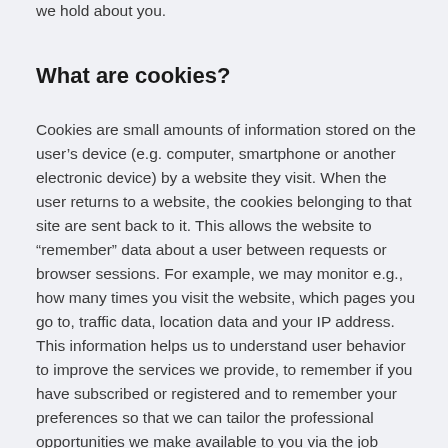we hold about you.
What are cookies?
Cookies are small amounts of information stored on the user’s device (e.g. computer, smartphone or another electronic device) by a website they visit. When the user returns to a website, the cookies belonging to that site are sent back to it. This allows the website to “remember” data about a user between requests or browser sessions. For example, we may monitor e.g., how many times you visit the website, which pages you go to, traffic data, location data and your IP address. This information helps us to understand user behavior to improve the services we provide, to remember if you have subscribed or registered and to remember your preferences so that we can tailor the professional opportunities we make available to you via the job board.